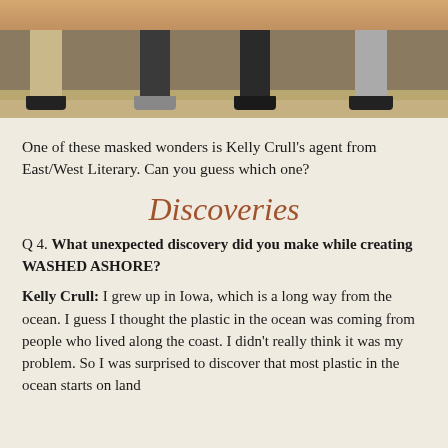[Figure (photo): Photo showing legs and feet of four people standing, with a wooden floor visible. The people appear to be wearing costumes or masks (only lower bodies visible).]
One of these masked wonders is Kelly Crull's agent from East/West Literary. Can you guess which one?
Discoveries
Q 4. What unexpected discovery did you make while creating WASHED ASHORE?
Kelly Crull: I grew up in Iowa, which is a long way from the ocean. I guess I thought the plastic in the ocean was coming from people who lived along the coast. I didn't really think it was my problem. So I was surprised to discover that most plastic in the ocean starts on land and is carried by rivers into the ocean or on air currents and